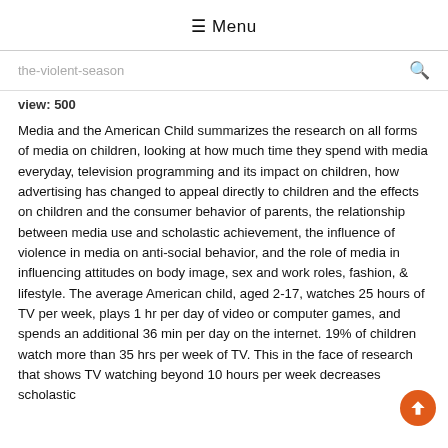≡ Menu
the-violent-season 🔍
view: 500
Media and the American Child summarizes the research on all forms of media on children, looking at how much time they spend with media everyday, television programming and its impact on children, how advertising has changed to appeal directly to children and the effects on children and the consumer behavior of parents, the relationship between media use and scholastic achievement, the influence of violence in media on anti-social behavior, and the role of media in influencing attitudes on body image, sex and work roles, fashion, & lifestyle. The average American child, aged 2-17, watches 25 hours of TV per week, plays 1 hr per day of video or computer games, and spends an additional 36 min per day on the internet. 19% of children watch more than 35 hrs per week of TV. This in the face of research that shows TV watching beyond 10 hours per week decreases scholastic